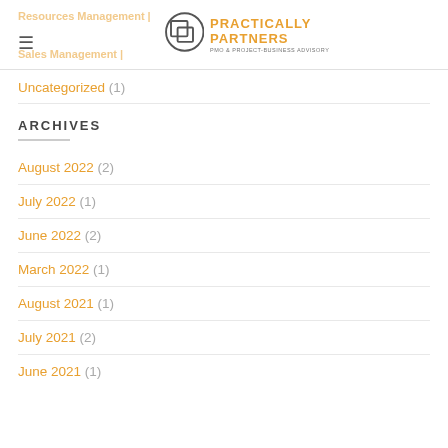Resources Management | Sales Management | Practically Partners PMO & Project-Business Advisory
Uncategorized (1)
ARCHIVES
August 2022 (2)
July 2022 (1)
June 2022 (2)
March 2022 (1)
August 2021 (1)
July 2021 (2)
June 2021 (1)